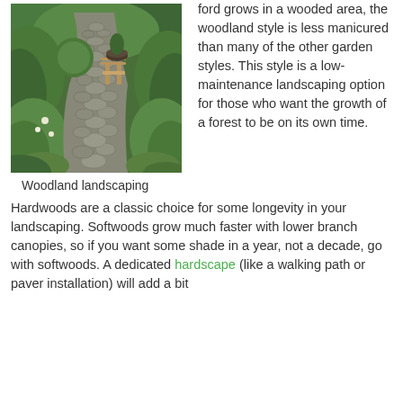[Figure (photo): Woodland landscaping photo showing a cobblestone path winding through lush green garden with shrubs and plants on either side, with a wooden chair visible in the background]
Woodland landscaping
ford grows in a wooded area, the woodland style is less manicured than many of the other garden styles. This style is a low-maintenance landscaping option for those who want the growth of a forest to be on its own time.
Hardwoods are a classic choice for some longevity in your landscaping. Softwoods grow much faster with lower branch canopies, so if you want some shade in a year, not a decade, go with softwoods. A dedicated hardscape (like a walking path or paver installation) will add a bit